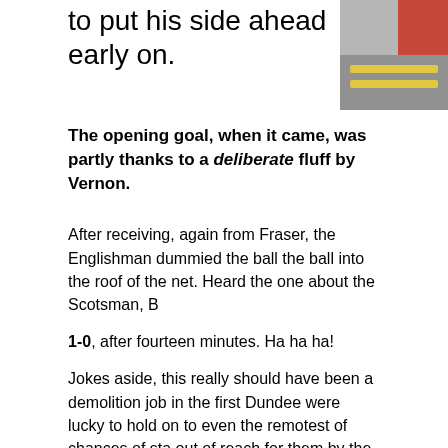to put his side ahead early on.
[Figure (photo): Partial photo showing a road with yellow lines and a red structure, cropped at the right edge of the page.]
The opening goal, when it came, was partly thanks to a deliberate fluff by Vernon.
After receiving, again from Fraser, the Englishman dummied the ball the ball into the roof of the net. Heard the one about the Scotsman, B
1-0, after fourteen minutes. Ha ha ha!
Jokes aside, this really should have been a demolition job in the first Dundee were lucky to hold on to even the remotest of chances of sta out of reach for them by the break, with an ebullient Aberdeen, prey i opponent's box for fun.
Come the second half, there appeared to be a change of tack by Du and even began to get behind the Dons defence for the first time. Ad though it couldn't quite yet be taken for granted that a victory would d
Then a rather peculiar thing happened. An absolutely awful free kick